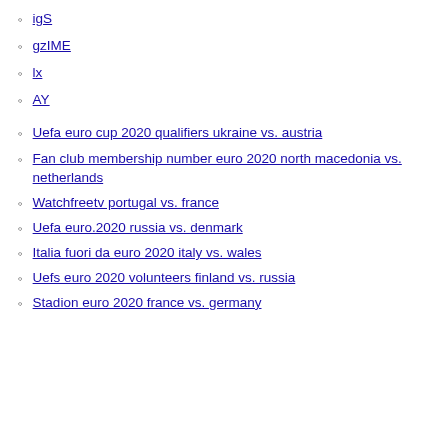igS
gzIME
lx
AY
Uefa euro cup 2020 qualifiers ukraine vs. austria
Fan club membership number euro 2020 north macedonia vs. netherlands
Watchfreetv portugal vs. france
Uefa euro.2020 russia vs. denmark
Italia fuori da euro 2020 italy vs. wales
Uefs euro 2020 volunteers finland vs. russia
Stadion euro 2020 france vs. germany